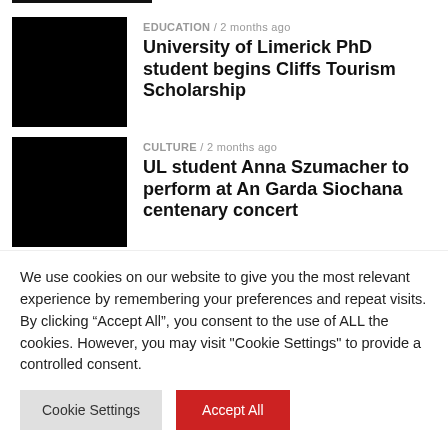EDUCATION / 2 months ago — University of Limerick PhD student begins Cliffs Tourism Scholarship
CULTURE / 2 months ago — UL student Anna Szumacher to perform at An Garda Siochana centenary concert
NEWS / 2 months ago — 2022 World Masters Ultimate Frisbee Championship runs until July 2 at UL and TUS
We use cookies on our website to give you the most relevant experience by remembering your preferences and repeat visits. By clicking “Accept All”, you consent to the use of ALL the cookies. However, you may visit "Cookie Settings" to provide a controlled consent.